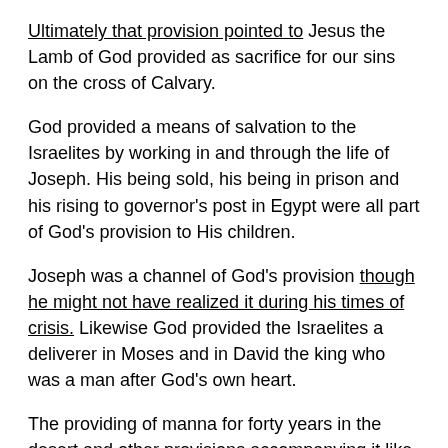Ultimately that provision pointed to Jesus the Lamb of God provided as sacrifice for our sins on the cross of Calvary.
God provided a means of salvation to the Israelites by working in and through the life of Joseph. His being sold, his being in prison and his rising to governor's post in Egypt were all part of God's provision to His children.
Joseph was a channel of God's provision though he might not have realized it during his times of crisis. Likewise God provided the Israelites a deliverer in Moses and in David the king who was a man after God's own heart.
The providing of manna for forty years in the desert and other provisions accompanying it like the people miraculously given water are all classic examples of God's provision.